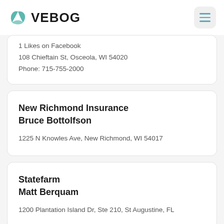VEBOG
1 Likes on Facebook
108 Chieftain St, Osceola, WI 54020
Phone: 715-755-2000
New Richmond Insurance
Bruce Bottolfson
1225 N Knowles Ave, New Richmond, WI 54017
Statefarm
Matt Berquam
1200 Plantation Island Dr, Ste 210, St Augustine, FL